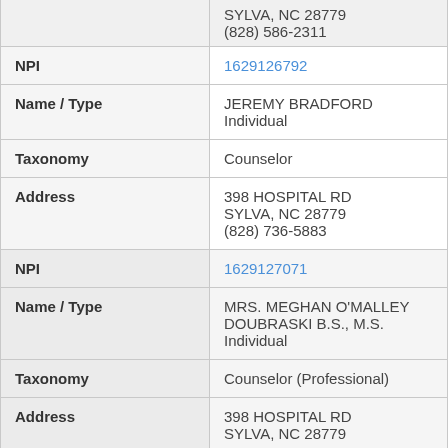| Field | Value |
| --- | --- |
|  | SYLVA, NC 28779
(828) 586-2311 |
| NPI | 1629126792 |
| Name / Type | JEREMY BRADFORD
Individual |
| Taxonomy | Counselor |
| Address | 398 HOSPITAL RD
SYLVA, NC 28779
(828) 736-5883 |
| NPI | 1629127071 |
| Name / Type | MRS. MEGHAN O'MALLEY DOUBRASKI B.S., M.S.
Individual |
| Taxonomy | Counselor (Professional) |
| Address | 398 HOSPITAL RD
SYLVA, NC 28779 |